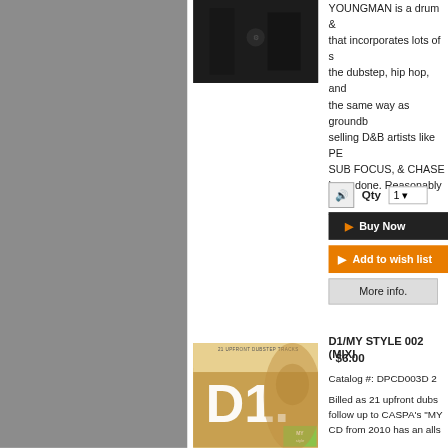[Figure (photo): Dark photo of two people, partially visible at top]
YOUNGMAN is a drum & that incorporates lots of s the dubstep, hip hop, and the same way as groundb selling D&B artists like PE SUB FOCUS, & CHASE have done. Reasonably p TECHNIQUE.
Qty
Buy Now
Add to wish list
More info.
[Figure (photo): Album cover for D1/MY STYLE 002 - colorful illustrated cover with large D1 text and MY style branding]
D1/MY STYLE 002 (MIXI
$6.00
Catalog #: DPCD003D 2
Billed as 21 upfront dubs follow up to CASPA's "MY CD from 2010 has an alls